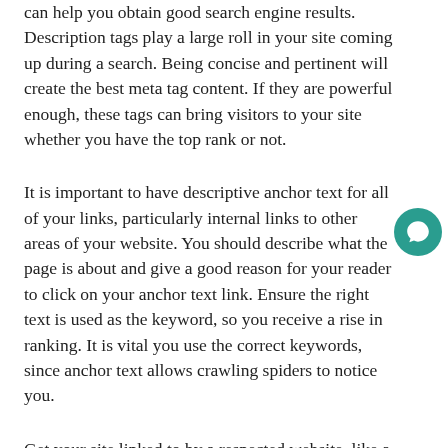can help you obtain good search engine results. Description tags play a large roll in your site coming up during a search. Being concise and pertinent will create the best meta tag content. If they are powerful enough, these tags can bring visitors to your site whether you have the top rank or not.
It is important to have descriptive anchor text for all of your links, particularly internal links to other areas of your website. You should describe what the page is about and give a good reason for your reader to click on your anchor text link. Ensure the right text is used as the keyword, so you receive a rise in ranking. It is vital you use the correct keywords, since anchor text allows crawling spiders to notice you.
Get your site linked to by a respected website, like a non-profit or an educational site. Search engines look favorably on sites that have been linked to by reputable sources. Add high-quality articles to your website that will make other organizations want to feature on their site. You need to publish information that is high-...